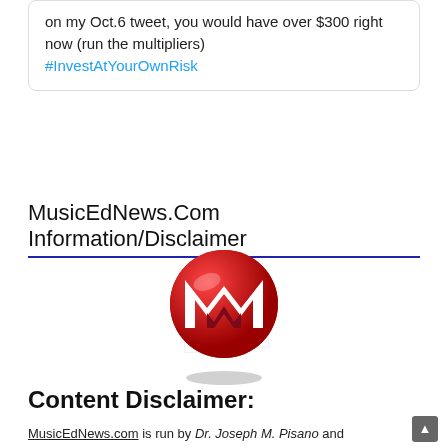on my Oct.6 tweet, you would have over $300 right now (run the multipliers) #InvestAtYourOwnRisk
MusicEdNews.Com Information/Disclaimer
[Figure (logo): MusicEdNews / MusTech red circular logo with stylized M letter]
Content Disclaimer:
MusicEdNews.com is run by Dr. Joseph M. Pisano and MusTech.Net as a factual-based news-story service to spread the word about music education as it appears appears currently in the news and various blogs. It was started as a project related to MusTech.Net's 100 Music Education Blogger Campaign in 2009.
MusicEdNews.com makes no claim of ownership (expressed or implied to